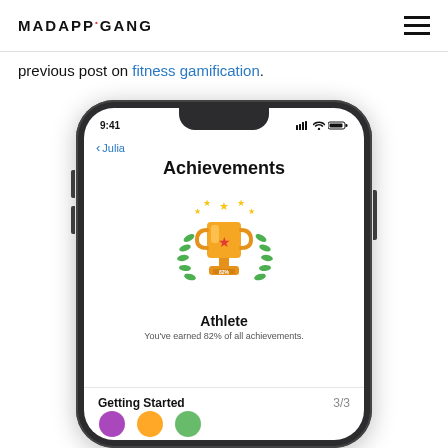MADAPPGANG
previous post on fitness gamification.
[Figure (screenshot): iPhone X mockup showing a fitness app Achievements screen. The screen displays the title 'Achievements', a trophy badge icon with laurel wreath and stars, the badge title 'Athlete', a subtitle 'You've earned 82% of all achievements.', and a 'Getting Started' section with '3/3' at the bottom.]